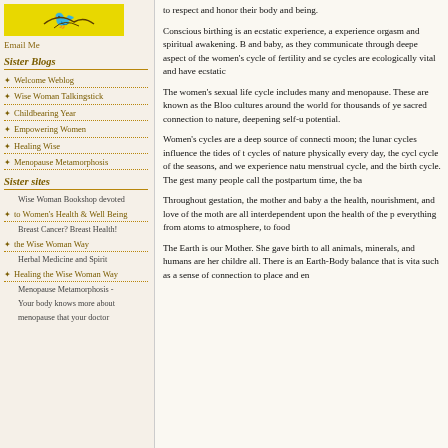[Figure (illustration): Yellow banner with decorative bird/animal illustration]
Email Me
Sister Blogs
Welcome Weblog
Wise Woman Talkingstick
Childbearing Year
Empowering Women
Healing Wise
Menopause Metamorphosis
Sister sites
Wise Woman Bookshop devoted
to Women's Health & Well Being
Breast Cancer? Breast Health!
the Wise Woman Way
Herbal Medicine and Spirit
Healing the Wise Woman Way
Menopause Metamorphosis -
Your body knows more about
menopause that your doctor
to respect and honor their body and being.

Conscious birthing is an ecstatic experience, a experience orgasm and spiritual awakening. B and baby, as they communicate through deepe aspect of the women's cycle of fertility and se cycles are ecologically vital and have ecstatic

The women's sexual life cycle includes many and menopause. These are known as the Bloo cultures around the world for thousands of ye sacred connection to nature, deepening self-u potential.

Women's cycles are a deep source of connecti moon; the lunar cycles influence the tides of cycles of nature physically every day, the cycl cycle of the seasons, and we experience natu menstrual cycle, and the birth cycle. The gest many people call the postpartum time, the ba

Throughout gestation, the mother and baby a the health, nourishment, and love of the moth are all interdependent upon the health of the p everything from atoms to atmosphere, to food

The Earth is our Mother. She gave birth to al animals, minerals, and humans are her childre all. There is an Earth-Body balance that is vital such as a sense of connection to place and en